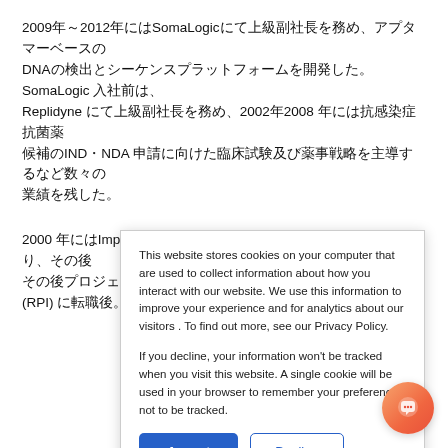2009年～2012年にはSomaLogicにて上級副社長を務め、アプタマーベースのDNA検出とシーケンスプラットフォームを開発した。SomaLogic 入社前は、Replidyne にて上級副社長を務め、2002年2008年には抗感染症抗菌薬候補のIND・NDA 申請に向けた臨床試験及び薬事戦略を主導するなど数々の業績を残した。
2000 年にはImpact Biosciences にてバイオマーカー発見に携わり、その後Ribozyme Pharmaceuticals, Inc. (RPI) に転職後、Atugen, USA にてプロジェクトのRPI...
This website stores cookies on your computer that are used to collect information about how you interact with our website. We use this information to improve your experience and for analytics about our visitors . To find out more, see our Privacy Policy.

If you decline, your information won't be tracked when you visit this website. A single cookie will be used in your browser to remember your preference not to be tracked.